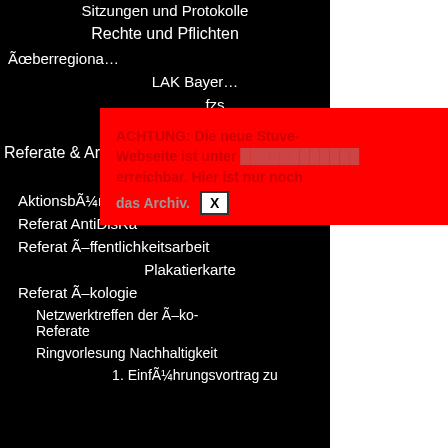Sitzungen und Protokolle
Rechte und Pflichten
Ãœberregiona…
LAK Bayer…
fzs
ABS
Referate & Arbeitskreise
Queer AG
AktionsbÃ¼ndnis Semesterticket
Referat AntiDisRa
Referat Ã–ffentlichkeitsarbeit
Plakatierkarte
Referat Ã–kologie
Netzwerktreffen der Ã–ko-Referate
Ringvorlesung Nachhaltigkeit
1. EinfÃ¼hrungsvortrag zu
ACHTUNG: Die neue Stuve-Webseite ist unter [link] erreichbar. Hier ist nur noch das Archiv. X
Prope its lice is hito
Evalu ,regul comp practi suppo exces possi
The te ,repai sales acces a p're right u
But th contri fact b insura well a other' ,refer' offers